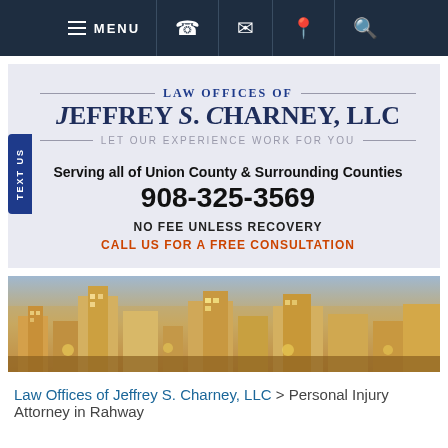MENU [navigation icons]
LAW OFFICES OF JEFFREY S. CHARNEY, LLC
LET OUR EXPERIENCE WORK FOR YOU
Serving all of Union County & Surrounding Counties
908-325-3569
NO FEE UNLESS RECOVERY
CALL US FOR A FREE CONSULTATION
[Figure (photo): Aerial cityscape photo showing urban buildings and skyline]
Law Offices of Jeffrey S. Charney, LLC > Personal Injury Attorney in Rahway